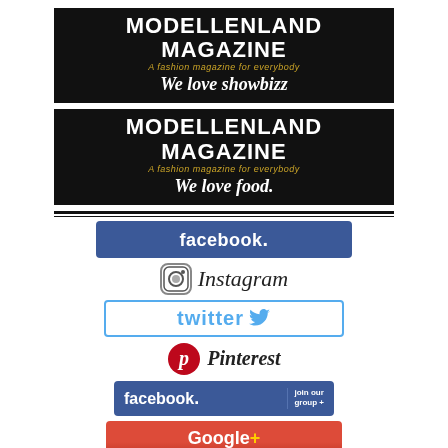[Figure (logo): Modellenland Magazine logo banner – black background, white bold title 'MODELLENLAND MAGAZINE', italic subtitle 'A fashion magazine for everybody' in gold, italic white text 'We love showbizz']
[Figure (logo): Modellenland Magazine logo banner – black background, white bold title 'MODELLENLAND MAGAZINE', italic subtitle 'A fashion magazine for everybody', italic white text 'We love food.']
[Figure (infographic): Social media icons/buttons: Facebook, Instagram, Twitter, Pinterest, Facebook (join our group), Google+, partial orange bar at bottom. Scroll-up arrow icon on right.]